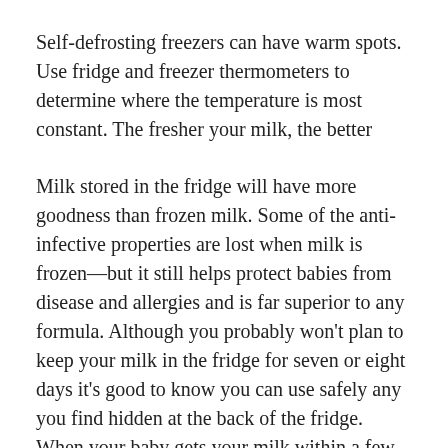Self-defrosting freezers can have warm spots. Use fridge and freezer thermometers to determine where the temperature is most constant. The fresher your milk, the better
Milk stored in the fridge will have more goodness than frozen milk. Some of the anti-infective properties are lost when milk is frozen—but it still helps protect babies from disease and allergies and is far superior to any formula. Although you probably won't plan to keep your milk in the fridge for seven or eight days it's good to know you can use safely any you find hidden at the back of the fridge. When your baby gets your milk within a few days of being refrigerated, it's also reassuring to know it is